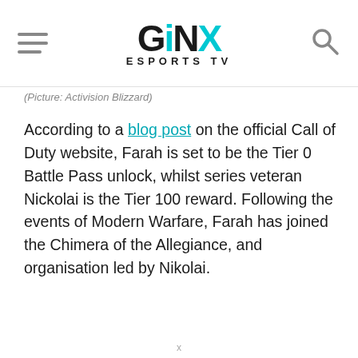GINX ESPORTSTV
(Picture: Activision Blizzard)
According to a blog post on the official Call of Duty website, Farah is set to be the Tier 0 Battle Pass unlock, whilst series veteran Nickolai is the Tier 100 reward. Following the events of Modern Warfare, Farah has joined the Chimera of the Allegiance, and organisation led by Nikolai.
x